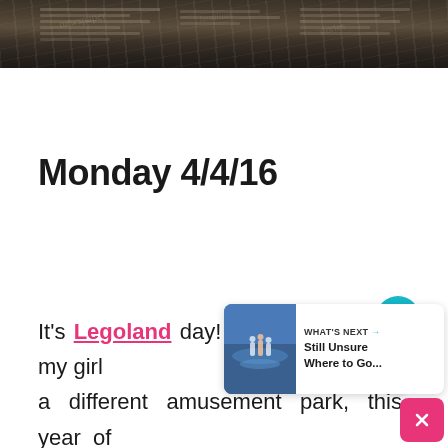[Figure (photo): Dark newspaper/background photo strip at top of page]
Monday 4/4/16
It's Legoland day! Each year, I take my girl a different amusement park, this year of choice was Legoland since we never there before. I purchased my tickets before